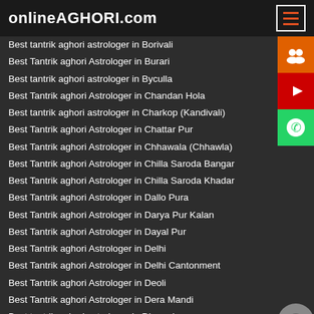onlineAGHORI.com
Best tantrik aghori astrologer in Borivali
Best Tantrik aghori Astrologer in Burari
Best tantrik aghori astrologer in Byculla
Best Tantrik aghori Astrologer in Chandan Hola
Best tantrik aghori astrologer in Charkop (Kandivali)
Best Tantrik aghori Astrologer in Chattar Pur
Best Tantrik aghori Astrologer in Chhawala (Chhawla)
Best Tantrik aghori Astrologer in Chilla Saroda Bangar
Best Tantrik aghori Astrologer in Chilla Saroda Khadar
Best Tantrik aghori Astrologer in Dallo Pura
Best Tantrik aghori Astrologer in Darya Pur Kalan
Best Tantrik aghori Astrologer in Dayal Pur
Best Tantrik aghori Astrologer in Delhi
Best Tantrik aghori Astrologer in Delhi Cantonment
Best Tantrik aghori Astrologer in Deoli
Best Tantrik aghori Astrologer in Dera Mandi
Best tantrik aghori astrologer in Dharavi